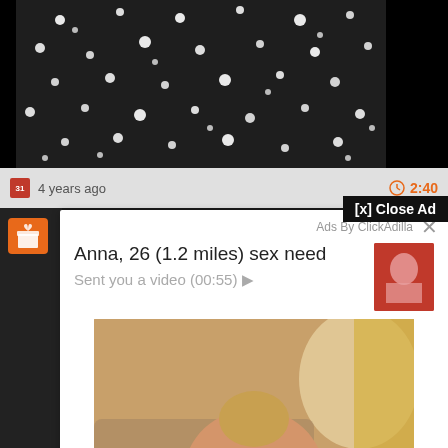[Figure (photo): Black rhinestone-studded fabric/clothing close-up photo]
4 years ago
2:40
[x] Close Ad
Ads By ClickAdilla
Anna, 26 (1.2 miles) sex need
Sent you a video (00:55) ▶
[Figure (photo): Adult content advertisement image - woman from behind]
bok